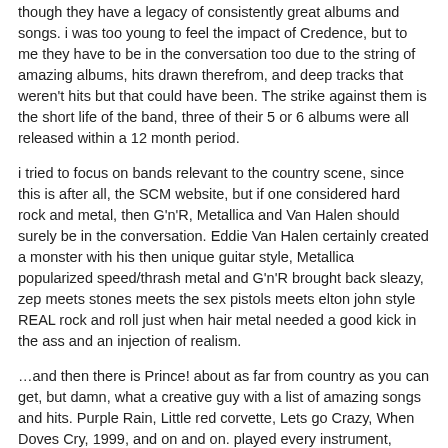though they have a legacy of consistently great albums and songs. i was too young to feel the impact of Credence, but to me they have to be in the conversation too due to the string of amazing albums, hits drawn therefrom, and deep tracks that weren't hits but that could have been. The strike against them is the short life of the band, three of their 5 or 6 albums were all released within a 12 month period.
i tried to focus on bands relevant to the country scene, since this is after all, the SCM website, but if one considered hard rock and metal, then G'n'R, Metallica and Van Halen should surely be in the conversation. Eddie Van Halen certainly created a monster with his then unique guitar style, Metallica popularized speed/thrash metal and G'n'R brought back sleazy, zep meets stones meets the sex pistols meets elton john style REAL rock and roll just when hair metal needed a good kick in the ass and an injection of realism.
…and then there is Prince! about as far from country as you can get, but damn, what a creative guy with a list of amazing songs and hits. Purple Rain, Little red corvette, Lets go Crazy, When Doves Cry, 1999, and on and on. played every instrument, sang, wrote, produced, he did it all.
Just my random two cents.